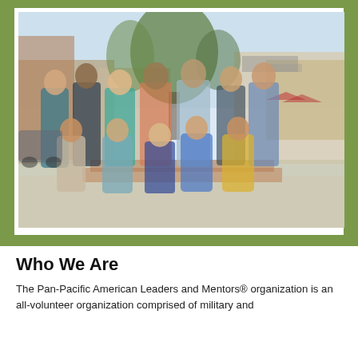[Figure (photo): Group photo of approximately 12 people posing outdoors in a shopping/urban area with trees and storefronts in the background. Some are standing in the back row and others are seated in the front row.]
Who We Are
The Pan-Pacific American Leaders and Mentors® organization is an all-volunteer organization comprised of military and